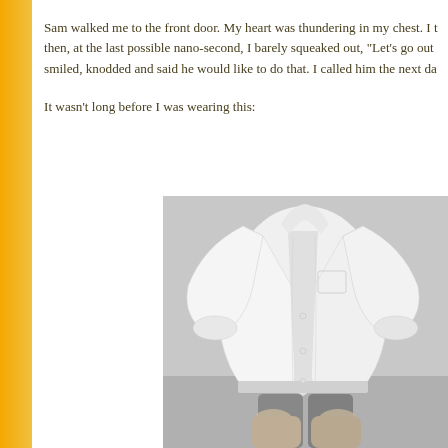Sam walked me to the front door. My heart was thundering in my chest. I then, at the last possible nano-second, I barely squeaked out, "Let's go out smiled, knodded and said he would like to do that. I called him the next da
It wasn't long before I was wearing this:
[Figure (photo): Black and white photo of a person wearing an oversized white button-down dress shirt, unbuttoned at the chest, with dark shorts visible at the bottom. The person is seated and the photo is cropped to show the torso and upper legs only.]